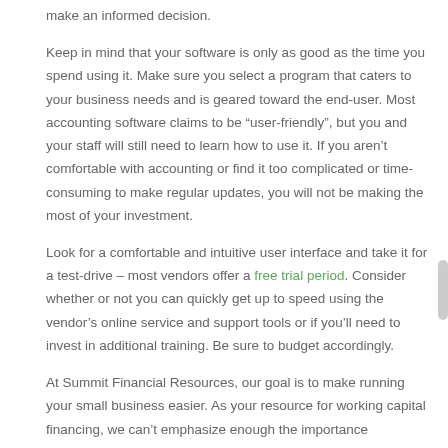make an informed decision.
Keep in mind that your software is only as good as the time you spend using it. Make sure you select a program that caters to your business needs and is geared toward the end-user. Most accounting software claims to be “user-friendly”, but you and your staff will still need to learn how to use it. If you aren’t comfortable with accounting or find it too complicated or time-consuming to make regular updates, you will not be making the most of your investment.
Look for a comfortable and intuitive user interface and take it for a test-drive – most vendors offer a free trial period. Consider whether or not you can quickly get up to speed using the vendor’s online service and support tools or if you’ll need to invest in additional training. Be sure to budget accordingly.
At Summit Financial Resources, our goal is to make running your small business easier. As your resource for working capital financing, we can’t emphasize enough the importance